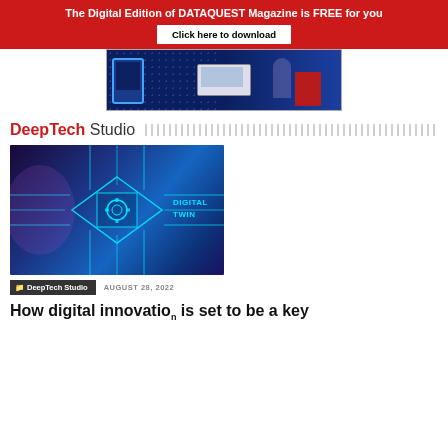The Digital Edition of DATAQUEST Magazine is FREE for you
Click here to download
[Figure (illustration): Advertisement banner with blue background, dotted pattern on left, illustration of devices (phone, laptop, book) on right]
DeepTech Studio
[Figure (photo): Digital Twin concept image: glowing blue circuit board with chip and gear in center, hands touching it, text 'DIGITAL TWIN' on right side]
DeepTech Studio   AUGUST 28, 2022
How digital innovation is set to be a key